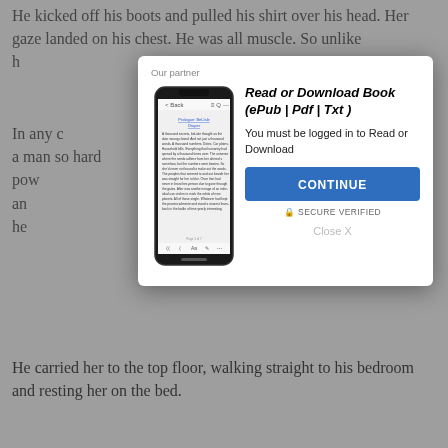He kicked off his boots and pulled his shirt over his head. Her gaze landed on his chest. He was all muscle. So unlike h own cur
In any c run away, h a man so hard and pow needed him, an could see he needed
[Figure (screenshot): A modal dialog overlay on a webpage. Contains 'Our partner' label, a phone mockup showing an ebook, title 'Read or Download Book (ePub | Pdf | Txt)', text 'You must be logged in to Read or Download', a blue CONTINUE button, SECURE VERIFIED text, and Close X link.]
His han and pushed notice that he picked b
He carried her to the top floor, walking straight to his bedroom and resting her on the bed.